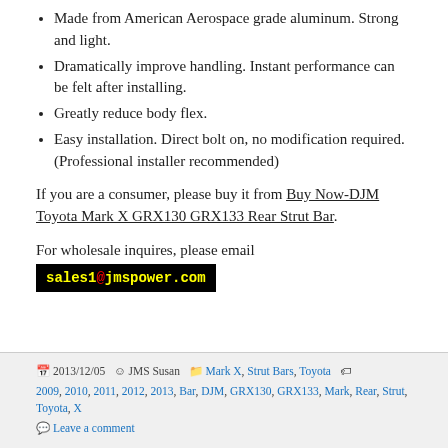Made from American Aerospace grade aluminum. Strong and light.
Dramatically improve handling. Instant performance can be felt after installing.
Greatly reduce body flex.
Easy installation. Direct bolt on, no modification required. (Professional installer recommended)
If you are a consumer, please buy it from Buy Now-DJM Toyota Mark X GRX130 GRX133 Rear Strut Bar.
For wholesale inquires, please email sales1@jmspower.com
2013/12/05  JMS Susan  Mark X, Strut Bars, Toyota  2009, 2010, 2011, 2012, 2013, Bar, DJM, GRX130, GRX133, Mark, Rear, Strut, Toyota, X  Leave a comment